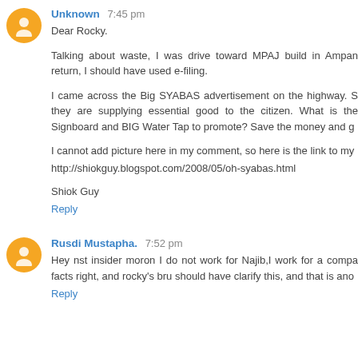Unknown 7:45 pm
Dear Rocky.

Talking about waste, I was drive toward MPAJ build in Ampan return, I should have used e-filing.

I came across the Big SYABAS advertisement on the highway. they are supplying essential good to the citizen. What is the Signboard and BIG Water Tap to promote? Save the money and g

I cannot add picture here in my comment, so here is the link to my

http://shiokguy.blogspot.com/2008/05/oh-syabas.html

Shiok Guy
Reply
Rusdi Mustapha. 7:52 pm
Hey nst insider moron I do not work for Najib,I work for a compa facts right, and rocky's bru should have clarify this, and that is ano
Reply